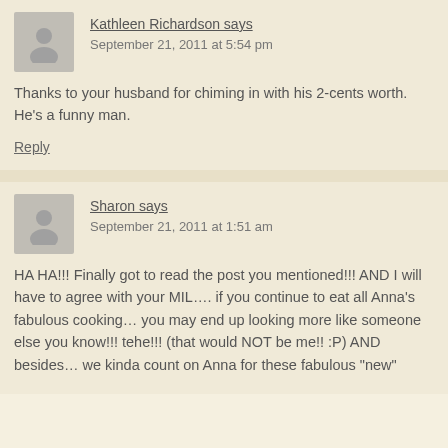Kathleen Richardson says
September 21, 2011 at 5:54 pm
Thanks to your husband for chiming in with his 2-cents worth. He’s a funny man.
Reply
Sharon says
September 21, 2011 at 1:51 am
HA HA!!! Finally got to read the post you mentioned!!! AND I will have to agree with your MIL…. if you continue to eat all Anna’s fabulous cooking… you may end up looking more like someone else you know!!! tehe!!! (that would NOT be me!! :P) AND besides… we kinda count on Anna for these fabulous “new”